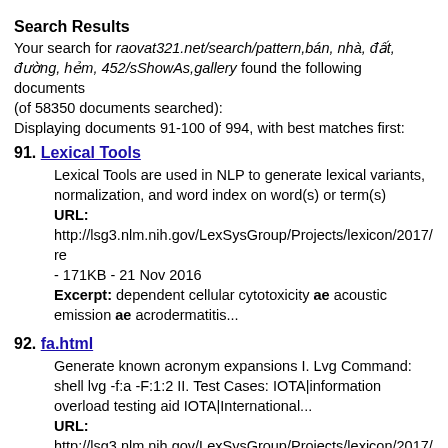Search Results
Your search for raovat321.net/search/pattern,bán, nhà, đất, đường, hẻm, 452/sShowAs,gallery found the following documents (of 58350 documents searched):
Displaying documents 91-100 of 994, with best matches first:
91. Lexical Tools
Lexical Tools are used in NLP to generate lexical variants, normalization, and word index on word(s) or term(s)
URL:
http://lsg3.nlm.nih.gov/LexSysGroup/Projects/lexicon/2017/re
- 171KB - 21 Nov 2016
Excerpt: dependent cellular cytotoxicity ae acoustic emission ae acrodermatitis...
92. fa.html
Generate known acronym expansions I. Lvg Command: shell lvg -f:a -F:1:2 II. Test Cases: IOTA|information overload testing aid IOTA|International...
URL:
http://lsg3.nlm.nih.gov/LexSysGroup/Projects/lexicon/2017/re